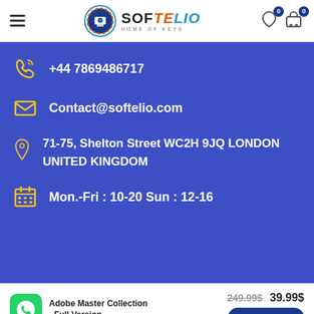Softelio - Home of Keys
+44 7869486717
Contact@softelio.com
71-75, Shelton Street WC2H 9JQ LONDON UNITED KINGDOM
Mon.-Fri : 10-20 Sun : 12-16
Adobe Master Collection - Full Version  249.99$  39.99$  Add To Cart